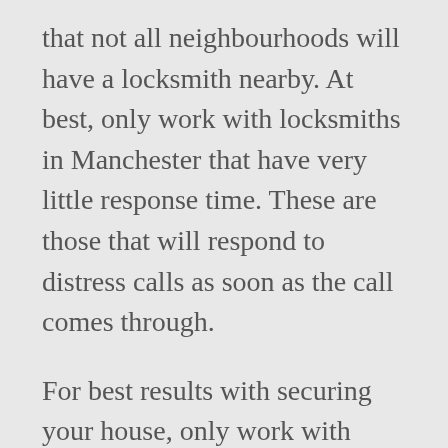that not all neighbourhoods will have a locksmith nearby. At best, only work with locksmiths in Manchester that have very little response time. These are those that will respond to distress calls as soon as the call comes through.
For best results with securing your house, only work with those companies that have a good reputation of delivering good results. If you are not sure of where to get information on any local locksmith, ask friends and neighbours and if they are of no help, you could try checking on the